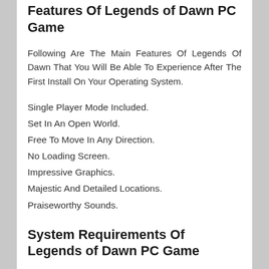Features Of Legends of Dawn PC Game
Following Are The Main Features Of Legends Of Dawn That You Will Be Able To Experience After The First Install On Your Operating System.
Single Player Mode Included.
Set In An Open World.
Free To Move In Any Direction.
No Loading Screen.
Impressive Graphics.
Majestic And Detailed Locations.
Praiseworthy Sounds.
System Requirements Of Legends of Dawn PC Game